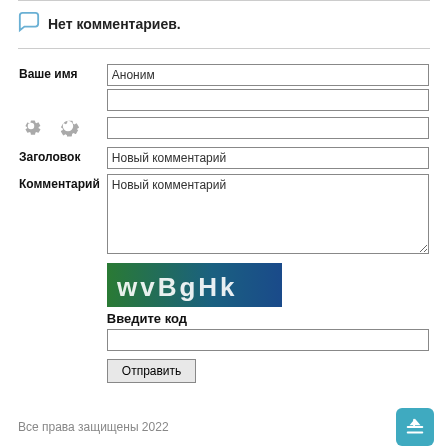Нет комментариев.
Ваше имя | Аноним
Заголовок | Новый комментарий
Комментарий | Новый комментарий
[Figure (other): CAPTCHA image with text wvBgHk on green-blue gradient background]
Введите код
Отправить
Все права защищены 2022